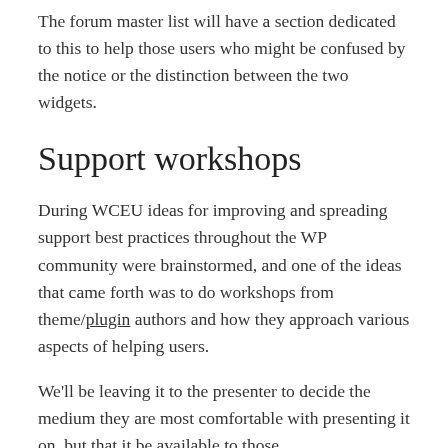The forum master list will have a section dedicated to this to help those users who might be confused by the notice or the distinction between the two widgets.
Support workshops
During WCEU ideas for improving and spreading support best practices throughout the WP community were brainstormed, and one of the ideas that came forth was to do workshops from theme/plugin authors and how they approach various aspects of helping users.
We'll be leaving it to the presenter to decide the medium they are most comfortable with presenting it on, but that it be available to those